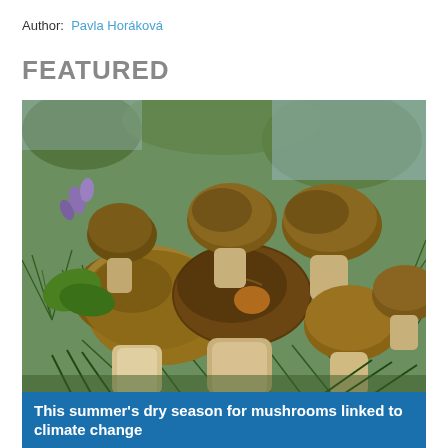Author: Pavla Horáková
FEATURED
[Figure (photo): Close-up photograph of several brown porcini mushrooms with white stems nestled among green spruce/pine needles and other foliage, photographed outdoors.]
This summer's dry season for mushrooms linked to climate change